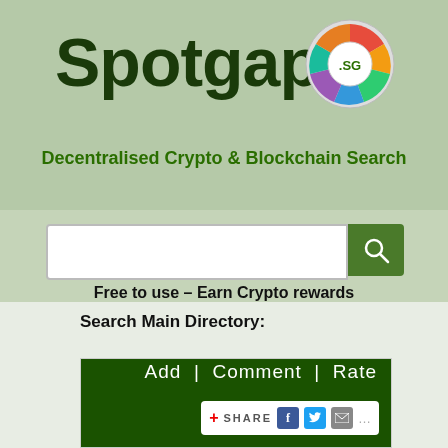Spotgap
[Figure (logo): Spotgap puzzle-piece circular logo with SG letters in center and multicolored puzzle pieces around it]
Decentralised Crypto & Blockchain Search
[Figure (screenshot): Search input bar with green search button]
Free to use – Earn Crypto rewards
Search Main Directory:
Search for: FOUND
Category: P-R
Crypto / RFR

Founder – Medium
Add  |  Comment  |  Rate
SHARE